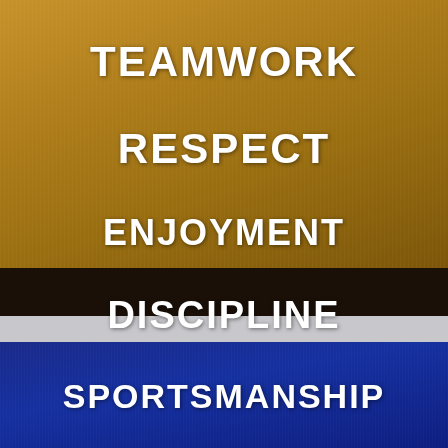[Figure (photo): Sports jersey or athletic fabric with horizontal color bands: gold/yellow-gold at top, black stripe in middle, thin white/grey stripe, and dark blue at bottom. Text overlaid on the bands lists sports values.]
TEAMWORK
RESPECT
ENJOYMENT
DISCIPLINE
SPORTSMANSHIP